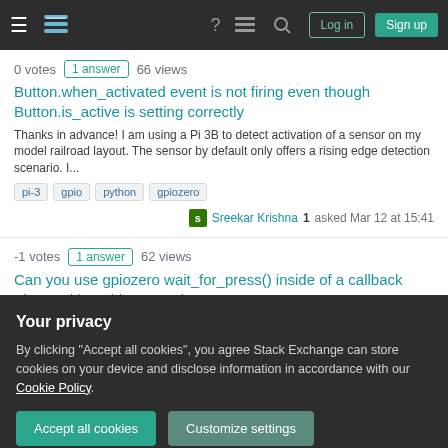Stack Exchange navigation bar with hamburger menu, logo, help, chat, search, Log in, Sign up buttons
0 votes 1 answer 66 views
Button.when_activated event is not firing even though Button.is_active is setting correctly
Thanks in advance! I am using a Pi 3B to detect activation of a sensor on my model railroad layout. The sensor by default only offers a rising edge detection scenario. I...
pi-3
gpio
python
gpiozero
Sreekar Krishna 1 asked Mar 12 at 15:41
-1 votes 1 answer 62 views
Can you use gpiozero wait_for_press() inside of a callback triggered by add_event_detect?
Your privacy
By clicking "Accept all cookies", you agree Stack Exchange can store cookies on your device and disclose information in accordance with our Cookie Policy.
Accept all cookies
Customize settings
How to use multiple HC-SR04 distance sensors